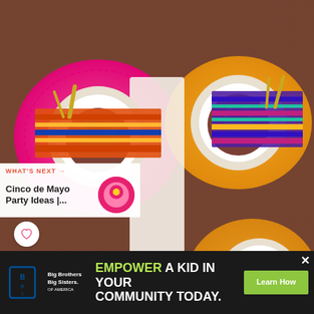[Figure (photo): Overhead view of a colorful Cinco de Mayo table setting with bright pink and orange paper doily placemats, brown clay bowls on white plates, succulent decorations, woven textile runners, gold/wooden cutlery, green drinks, and a large centerpiece bouquet of pink, orange, and yellow gerbera daisies and roses on a dark wood table.]
WHAT'S NEXT →
Cinco de Mayo Party Ideas |...
EMPOWER A KID IN YOUR COMMUNITY TODAY.
Learn How